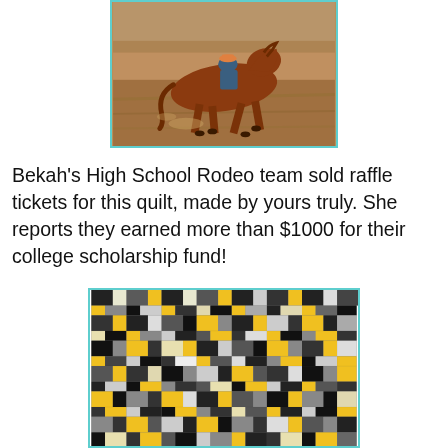[Figure (photo): A rider on a chestnut horse galloping at a rodeo arena, photographed from the side, with a teal/cyan border frame.]
Bekah's High School Rodeo team sold raffle tickets for this quilt, made by yours truly. She reports they earned more than $1000 for their college scholarship fund!
[Figure (photo): A patchwork quilt with black, white, gray, and yellow fabric pieces arranged in a plus/cross pattern, photographed at an angle, with a teal/cyan border frame.]